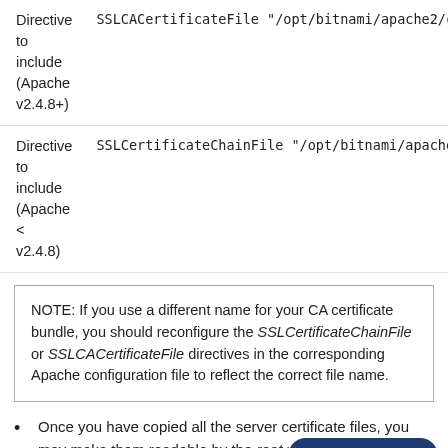| Description | Directive/Value |
| --- | --- |
| Directive to include (Apache v2.4.8+) | SSLCACertificateFile "/opt/bitnami/apache2/conf/server-ca.crt" |
| Directive to include (Apache < v2.4.8) | SSLCertificateChainFile "/opt/bitnami/apache2/conf/server-ca.crt" |
NOTE: If you use a different name for your CA certificate bundle, you should reconfigure the SSLCertificateChainFile or SSLCACertificateFile directives in the corresponding Apache configuration file to reflect the correct file name.
Once you have copied all the server certificate files, you may make them readable by the root user only with the following commands